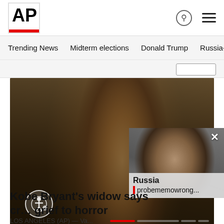AP
Trending News
Midterm elections
Donald Trump
Russia-Ukr
[Figure (photo): Woman with long dark hair and sunglasses dressed in black, walking outdoors]
[Figure (photo): Popup thumbnail showing older man with glasses (Barr); overlaid text: Russia probememowrong...]
Kobe Bryant's widow says cr… grief to horror
LOS ANGELES (AP) — Va...